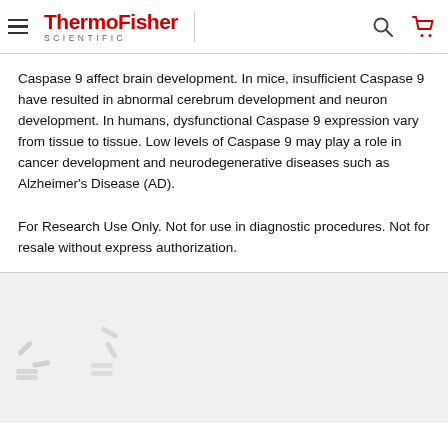ThermoFisher SCIENTIFIC
Caspase 9 affect brain development. In mice, insufficient Caspase 9 have resulted in abnormal cerebrum development and neuron development. In humans, dysfunctional Caspase 9 expression vary from tissue to tissue. Low levels of Caspase 9 may play a role in cancer development and neurodegenerative diseases such as Alzheimer's Disease (AD).
For Research Use Only. Not for use in diagnostic procedures. Not for resale without express authorization.
[Figure (other): Loading spinner icons at bottom of page, partially visible]